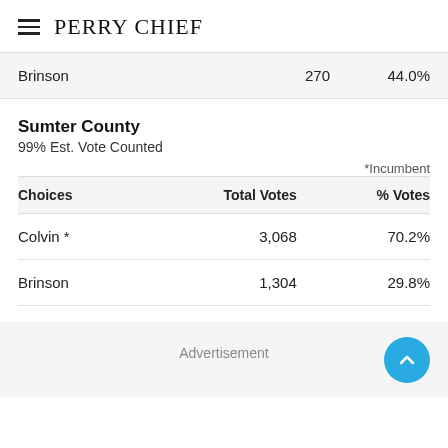PERRY CHIEF
|  |  |  |
| --- | --- | --- |
| Brinson | 270 | 44.0% |
Sumter County
99% Est. Vote Counted
*Incumbent
| Choices | Total Votes | % Votes |
| --- | --- | --- |
| Colvin * | 3,068 | 70.2% |
| Brinson | 1,304 | 29.8% |
Advertisement